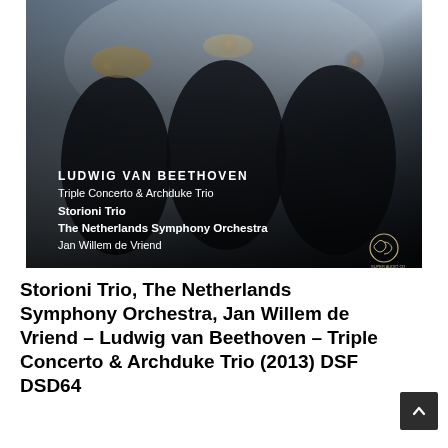[Figure (photo): Album cover for Ludwig van Beethoven Triple Concerto & Archduke Trio performed by Storioni Trio, The Netherlands Symphony Orchestra, conducted by Jan Willem de Vriend. Dark background with three musicians in black clothing laughing and smiling. Text overlay on lower portion shows composer, work titles, performers and SACD logo.]
Storioni Trio, The Netherlands Symphony Orchestra, Jan Willem de Vriend – Ludwig van Beethoven – Triple Concerto & Archduke Trio (2013) DSF DSD64